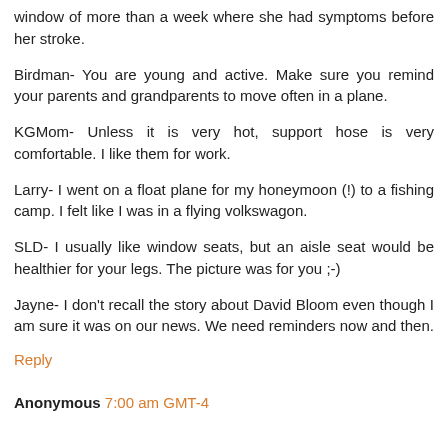window of more than a week where she had symptoms before her stroke.
Birdman- You are young and active. Make sure you remind your parents and grandparents to move often in a plane.
KGMom- Unless it is very hot, support hose is very comfortable. I like them for work.
Larry- I went on a float plane for my honeymoon (!) to a fishing camp. I felt like I was in a flying volkswagon.
SLD- I usually like window seats, but an aisle seat would be healthier for your legs. The picture was for you ;-)
Jayne- I don't recall the story about David Bloom even though I am sure it was on our news. We need reminders now and then.
Reply
Anonymous 7:00 am GMT-4